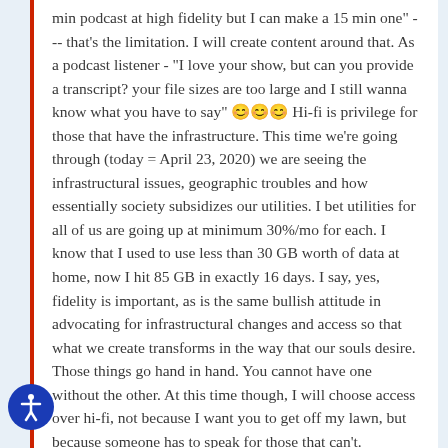min podcast at high fidelity but I can make a 15 min one" --- that's the limitation. I will create content around that. As a podcast listener - "I love your show, but can you provide a transcript? your file sizes are too large and I still wanna know what you have to say" 🙂🙂🙂 Hi-fi is privilege for those that have the infrastructure. This time we're going through (today = April 23, 2020) we are seeing the infrastructural issues, geographic troubles and how essentially society subsidizes our utilities. I bet utilities for all of us are going up at minimum 30%/mo for each. I know that I used to use less than 30 GB worth of data at home, now I hit 85 GB in exactly 16 days. I say, yes, fidelity is important, as is the same bullish attitude in advocating for infrastructural changes and access so that what we create transforms in the way that our souls desire. Those things go hand in hand. You cannot have one without the other. At this time though, I will choose access over hi-fi, not because I want you to get off my lawn, but because someone has to speak for those that can't.